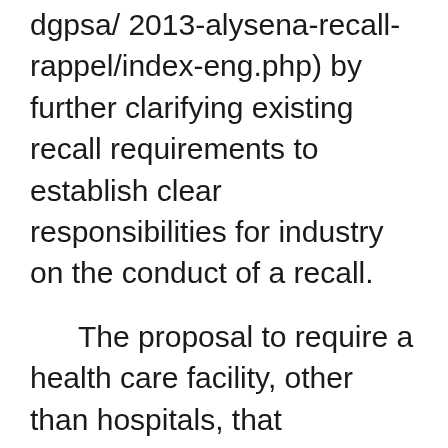dgpsa/ 2013-alysena-recall-rappel/index-eng.php) by further clarifying existing recall requirements to establish clear responsibilities for industry on the conduct of a recall.
The proposal to require a health care facility, other than hospitals, that distributes medical devices outside of its facility to obtain an establishment licence is intended to better manage the risk associated with the distribution of these devices.
Health Canada will continue to engage